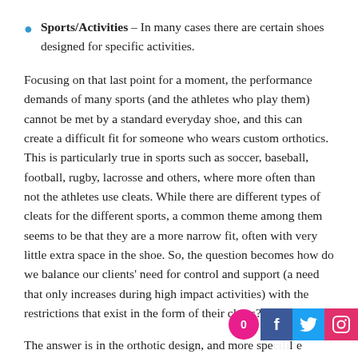Sports/Activities – In many cases there are certain shoes designed for specific activities.
Focusing on that last point for a moment, the performance demands of many sports (and the athletes who play them) cannot be met by a standard everyday shoe, and this can create a difficult fit for someone who wears custom orthotics. This is particularly true in sports such as soccer, baseball, football, rugby, lacrosse and others, where more often than not the athletes use cleats. While there are different types of cleats for the different sports, a common theme among them seems to be that they are a more narrow fit, often with very little extra space in the shoe. So, the question becomes how do we balance our clients' need for control and support (a need that only increases during high impact activities) with the restrictions that exist in the form of their cleats?
The answer is in the orthotic design, and more specifically the materials used. More rigid materials such as carbon fibre or